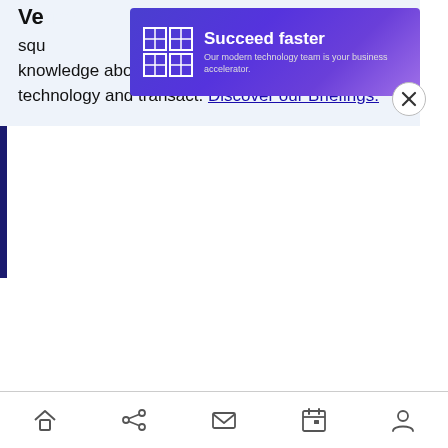Ve... squ... knowledge about transformative enterprise technology and transact. Discover our Briefings.
[Figure (infographic): KPMG advertisement banner: 'Succeed faster – Our modern technology team is your business accelerator.' with KPMG logo on purple/blue gradient background and a close (X) button.]
Navigation bar with home, share, mail, calendar, and profile icons